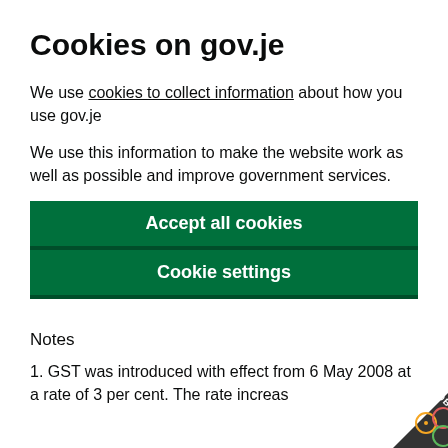Cookies on gov.je
We use cookies to collect information about how you use gov.je
We use this information to make the website work as well as possible and improve government services.
Accept all cookies
Cookie settings
Notes
1. GST was introduced with effect from 6 May 2008 at a rate of 3 per cent. The rate increas